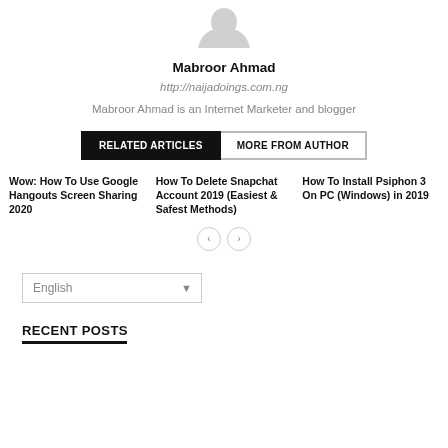[Figure (photo): Circular avatar/profile photo placeholder showing a grey silhouette]
Mabroor Ahmad
http://naijadoings.com.ng
Mabroor Ahmad is an Internet Marketer and blogger
RELATED ARTICLES | MORE FROM AUTHOR
Wow: How To Use Google Hangouts Screen Sharing 2020
How To Delete Snapchat Account 2019 (Easiest & Safest Methods)
How To Install Psiphon 3 On PC (Windows) in 2019
English (language selector)
RECENT POSTS